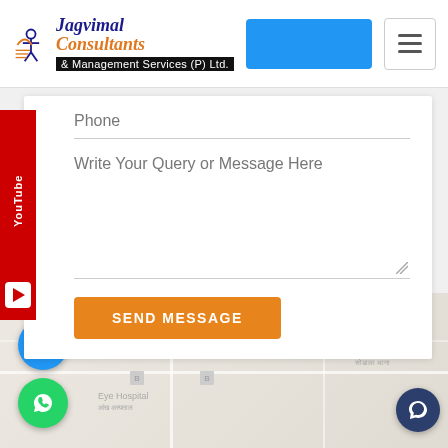[Figure (logo): Jagvimal Consultants and Management Services (P) Ltd. logo with JMC emblem]
[Figure (screenshot): Blue navigation bar area and hamburger menu icon in website header]
[Figure (infographic): Red YouTube sidebar tab with YouTube text and play button icon]
Phone
Write Your Query or Message Here
SEND MESSAGE
[Figure (map): Google Maps showing area with Hookah Bar, Sodala Police Station, Eye Hospital locations. Includes View larger map link, phone call button, WhatsApp button, and chat button.]